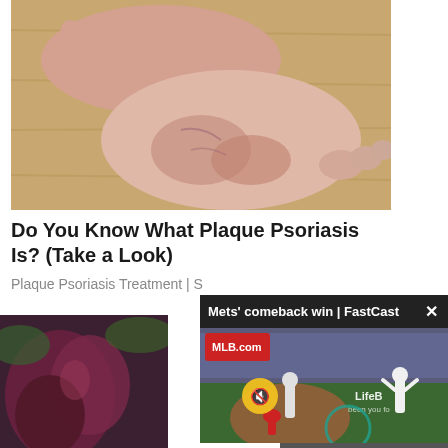[Figure (photo): Close-up photo of a person's foot/ankle with psoriasis skin condition, resting on a wooden floor surface.]
Do You Know What Plaque Psoriasis Is? (Take a Look)
Plaque Psoriasis Treatment | S
[Figure (photo): Close-up photo of a dark red/purple plant or organic material, partially visible at bottom left.]
[Figure (screenshot): Video overlay popup showing MLB baseball game footage with text 'Mets' comeback win | FastCast' and MLB.com logo, with a mute button icon and close X button. Shows baseball players including a pitcher and a celebrating player.]